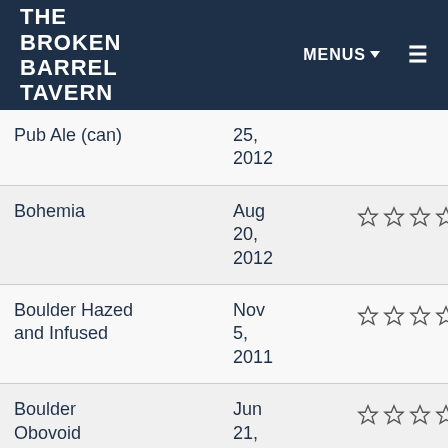THE BROKEN BARREL TAVERN | MENUS ▾ ≡
| Name | Date | Rating |
| --- | --- | --- |
| Pub Ale (can) | 25, 2012 | ☆☆☆☆☆ |
| Bohemia | Aug 20, 2012 | ☆☆☆☆☆ |
| Boulder Hazed and Infused | Nov 5, 2011 | ☆☆☆☆☆ |
| Boulder Obovoid | Jun 21, 2013 | ☆☆☆☆☆ |
| Boulder (partial) | Nov ... | ☆☆☆☆☆ |